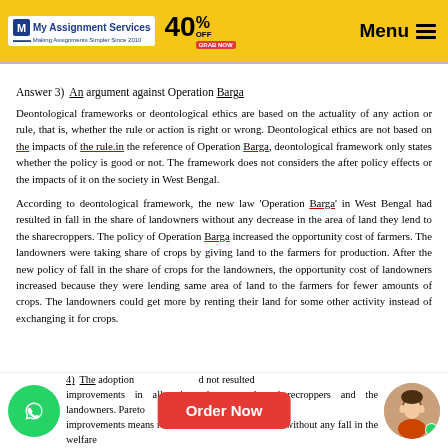My Assignment Services — 40% OFF — GRAB NOW — Menu
Answer 3)  An argument against Operation Barga
Deontological frameworks or deontological ethics are based on the actuality of any action or rule, that is, whether the rule or action is right or wrong. Deontological ethics are not based on the impacts of the rule.in the reference of Operation Barga, deontological framework only states whether the policy is good or not. The framework does not considers the after policy effects or the impacts of it on the society in West Bengal.
According to deontological framework, the new law 'Operation Barga' in West Bengal had resulted in fall in the share of landowners without any decrease in the area of land they lend to the sharecroppers. The policy of Operation Barga increased the opportunity cost of farmers. The landowners were taking share of crops by giving land to the farmers for production. After the new policy of fall in the share of crops for the landowners, the opportunity cost of landowners increased because they were lending same area of land to the farmers for fewer amounts of crops. The landowners could get more by renting their land for some other activity instead of exchanging it for crops.
4)  The adoption of... d not resulted improvements in allocations between the sharecroppers and the landowners. Pareto improvements means rise in the welfare of someone without any fall in the welfare